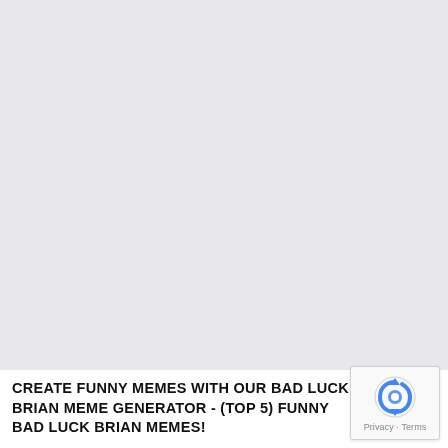[Figure (other): Large light gray blank area occupying the upper portion of the page, resembling a loading or placeholder image region.]
CREATE FUNNY MEMES WITH OUR BAD LUCK BRIAN MEME GENERATOR - (TOP 5) FUNNY BAD LUCK BRIAN MEMES!